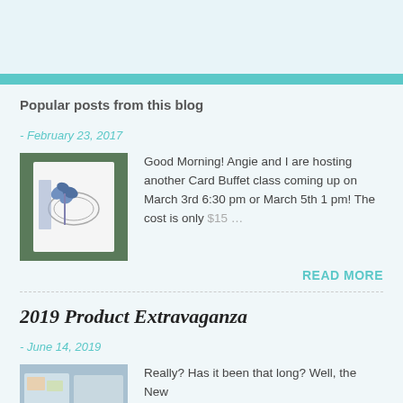Popular posts from this blog
- February 23, 2017
[Figure (photo): Thumbnail photo of a handmade card with a butterfly and oval design on green background]
Good Morning! Angie and I are hosting another Card Buffet class coming up on March 3rd 6:30 pm or March 5th 1 pm! The cost is only $15 …
READ MORE
2019 Product Extravaganza
- June 14, 2019
[Figure (photo): Thumbnail photo of product display]
Really? Has it been that long? Well, the New